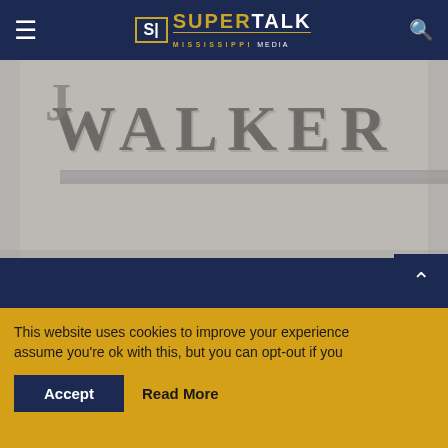SuperTalk Mississippi Media
[Figure (photo): Black and white photo of a stone building facade with the word WALKER engraved on it]
New law firm hired to recover misappropriated TANF funds
by Caleb Salers  August 18, 2022
This website uses cookies to improve your experience assume you're ok with this, but you can opt-out if you